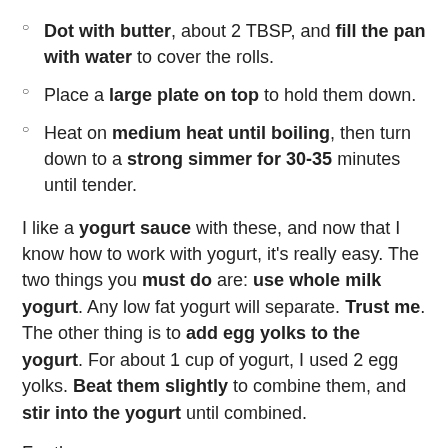Dot with butter, about 2 TBSP, and fill the pan with water to cover the rolls.
Place a large plate on top to hold them down.
Heat on medium heat until boiling, then turn down to a strong simmer for 30-35 minutes until tender.
I like a yogurt sauce with these, and now that I know how to work with yogurt, it's really easy. The two things you must do are: use whole milk yogurt. Any low fat yogurt will separate. Trust me. The other thing is to add egg yolks to the yogurt. For about 1 cup of yogurt, I used 2 egg yolks. Beat them slightly to combine them, and stir into the yogurt until combined.
For the sauce:
1 small can tomato sauce